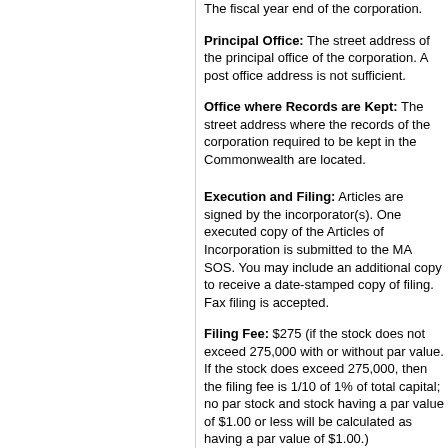The fiscal year end of the corporation.
Principal Office: The street address of the principal office of the corporation. A post office address is not sufficient.
Office where Records are Kept: The street address where the records of the corporation required to be kept in the Commonwealth are located.
Execution and Filing: Articles are signed by the incorporator(s). One executed copy of the Articles of Incorporation is submitted to the MA SOS. You may include an additional copy to receive a date-stamped copy of filing. Fax filing is accepted.
Filing Fee: $275 (if the stock does not exceed 275,000 with or without par value. If the stock does exceed 275,000, then the filing fee is 1/10 of 1% of total capital; no par stock and stock having a par value of $1.00 or less will be calculated as having a par value of $1.00.)